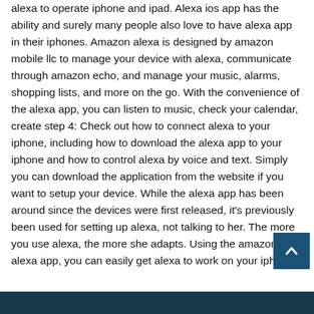alexa to operate iphone and ipad. Alexa ios app has the ability and surely many people also love to have alexa app in their iphones. Amazon alexa is designed by amazon mobile llc to manage your device with alexa, communicate through amazon echo, and manage your music, alarms, shopping lists, and more on the go. With the convenience of the alexa app, you can listen to music, check your calendar, create step 4: Check out how to connect alexa to your iphone, including how to download the alexa app to your iphone and how to control alexa by voice and text. Simply you can download the application from the website if you want to setup your device. While the alexa app has been around since the devices were first released, it's previously been used for setting up alexa, not talking to her. The more you use alexa, the more she adapts. Using the amazon alexa app, you can easily get alexa to work on your iphone.